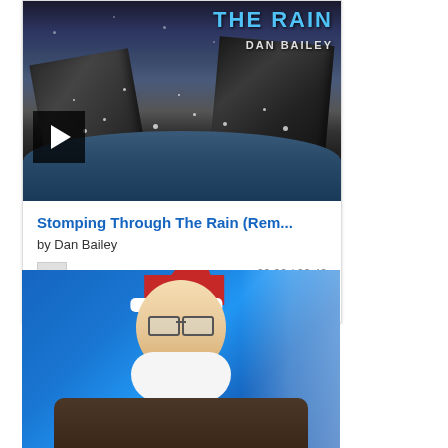[Figure (screenshot): Album cover photo showing sneakers stomping in rain/snow puddle with text 'THE RAIN' and 'DAN BAILEY' overlaid, with a play button in the lower left]
Stomping Through The Rain (Rem...
by Dan Bailey
00:00 / 03:43
buy   share
[Figure (photo): Man wearing Santa hat and glasses with beard, smiling, against blue winter sky with frost/snow in background]